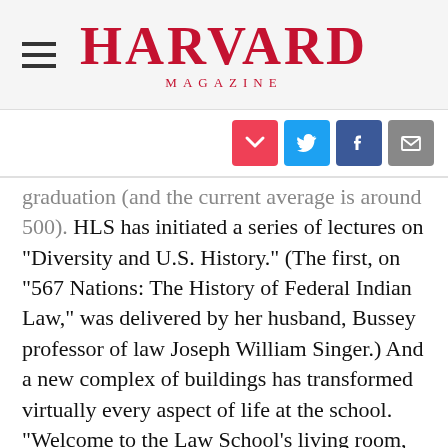HARVARD MAGAZINE
[Figure (infographic): Social sharing icons: Pocket (red), Twitter (blue), Facebook (dark blue), Email (gray)]
graduation (and the current average is around 500). HLS has initiated a series of lectures on “Diversity and U.S. History.” (The first, on “567 Nations: The History of Federal Indian Law,” was delivered by her husband, Bussey professor of law Joseph William Singer.) And a new complex of buildings has transformed virtually every aspect of life at the school. “Welcome to the Law School’s living room, welcome to the new shape of legal education,” Minow said at the dedication of the complex. It has increased the engagement of faculty with students and students with students: the